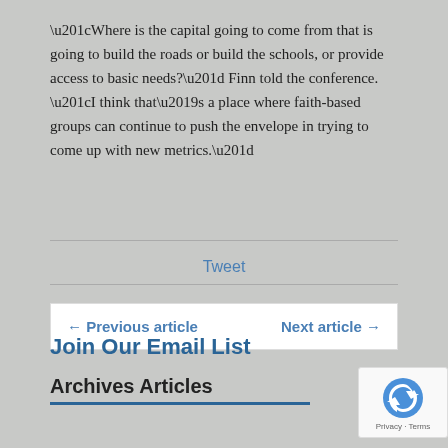“Where is the capital going to come from that is going to build the roads or build the schools, or provide access to basic needs?” Finn told the conference. “I think that’s a place where faith-based groups can continue to push the envelope in trying to come up with new metrics.”
Tweet
← Previous article    Next article →
Join Our Email List
Archives Articles